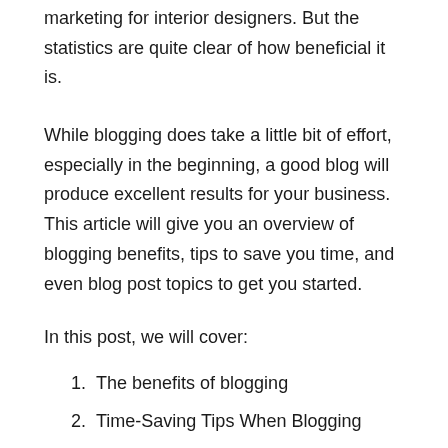marketing for interior designers. But the statistics are quite clear of how beneficial it is.
While blogging does take a little bit of effort, especially in the beginning, a good blog will produce excellent results for your business. This article will give you an overview of blogging benefits, tips to save you time, and even blog post topics to get you started.
In this post, we will cover:
The benefits of blogging
Time-Saving Tips When Blogging
Blog Topic Ideas for Your Interior Design Business